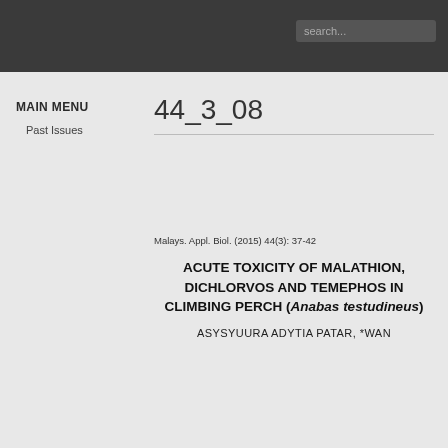search...
MAIN MENU
Past Issues
44_3_08
Malays. Appl. Biol. (2015) 44(3): 37-42
ACUTE TOXICITY OF MALATHION, DICHLORVOS AND TEMEPHOS IN CLIMBING PERCH (Anabas testudineus)
ASYSYUURA ADYTIA PATAR, *WAN